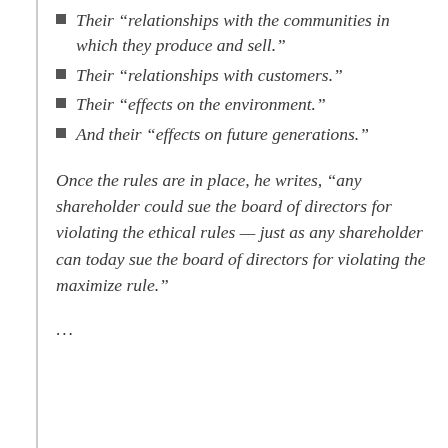Their “relationships with the communities in which they produce and sell.”
Their “relationships with customers.”
Their “effects on the environment.”
And their “effects on future generations.”
Once the rules are in place, he writes, “any shareholder could sue the board of directors for violating the ethical rules — just as any shareholder can today sue the board of directors for violating the maximize rule.”
...